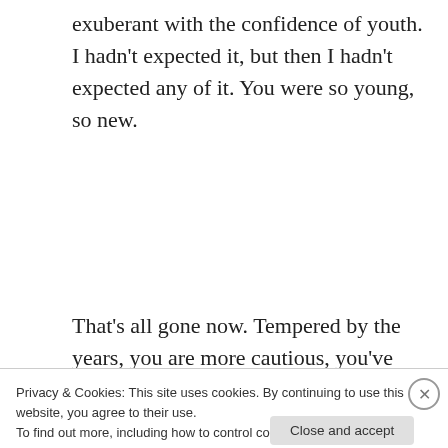exuberant with the confidence of youth. I hadn't expected it, but then I hadn't expected any of it. You were so young, so new.
That's all gone now. Tempered by the years, you are more cautious, you've learnt that not everyone is worth knowing. We both have. That night you planted your flag on me and placed me at the centre of your world.
Privacy & Cookies: This site uses cookies. By continuing to use this website, you agree to their use.
To find out more, including how to control cookies, see here: Cookie Policy